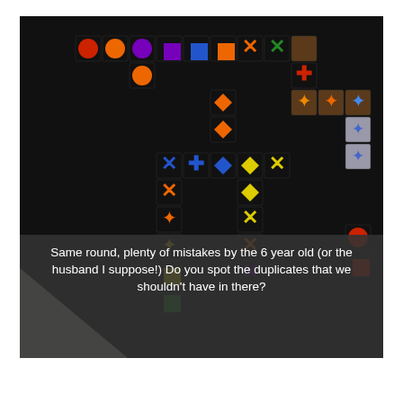[Figure (photo): A Qwirkle board game in progress on a dark surface, showing colored tiles with shapes (circles, squares, diamonds, crosses, stars, Xs) arranged in crossing lines. Various colored tiles visible in orange, red, purple, blue, green, yellow. Some loose tiles in upper right corner.]
Same round, plenty of mistakes by the 6 year old (or the husband I suppose!) Do you spot the duplicates that we shouldn't have in there?